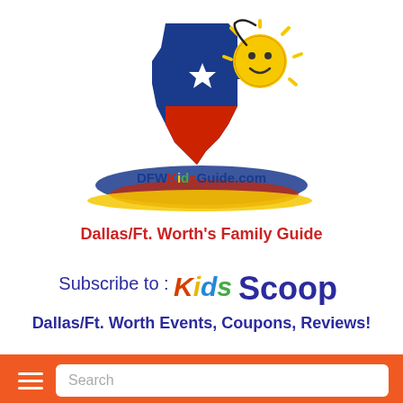[Figure (logo): DFWKidsGuide.com logo featuring Texas state outline in blue and red with a star, a smiley sun character, and swoosh ribbons in red, blue, and yellow with the text DFWKidsGuide.com]
Dallas/Ft. Worth's Family Guide
[Figure (logo): Subscribe to: Kids Scoop colorful logo with Kids in multi-color italic text and Scoop in bold blue]
Dallas/Ft. Worth Events, Coupons, Reviews!
[Figure (screenshot): Orange navigation bar with hamburger menu icon on left and search input box on right]
[Figure (screenshot): Light gray section below nav bar, with a white card/panel partially visible at bottom]